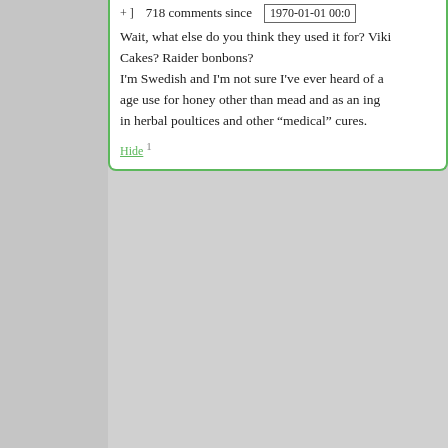+ ]   718 comments since   1970-01-01 00:0
Wait, what else do you think they used it for? Viki... Cakes? Raider bonbons?
I'm Swedish and I'm not sure I've ever heard of a... age use for honey other than mead and as an ing... in herbal poultices and other “medical” cures.
Hide 1
Zorgon says:
June 3, 2016 at 9:10 am ~new~
There are countless example of other h... use from less… hardcore nations, how...
Hide 1
Anonymous says:
June 3, 2016 at 9:19 am ~new~
Did those nations produce a